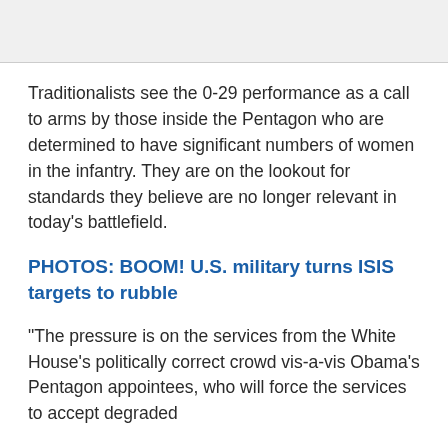[Figure (other): Gray header bar at top of page]
Traditionalists see the 0-29 performance as a call to arms by those inside the Pentagon who are determined to have significant numbers of women in the infantry. They are on the lookout for standards they believe are no longer relevant in today’s battlefield.
PHOTOS: BOOM! U.S. military turns ISIS targets to rubble
“The pressure is on the services from the White House’s politically correct crowd vis-a-vis Obama’s Pentagon appointees, who will force the services to accept degraded